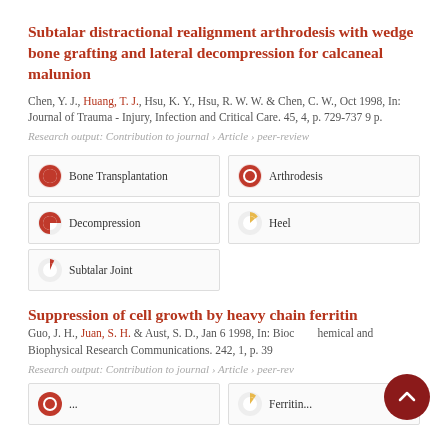Subtalar distractional realignment arthrodesis with wedge bone grafting and lateral decompression for calcaneal malunion
Chen, Y. J., Huang, T. J., Hsu, K. Y., Hsu, R. W. W. & Chen, C. W., Oct 1998, In: Journal of Trauma - Injury, Infection and Critical Care. 45, 4, p. 729-737 9 p.
Research output: Contribution to journal › Article › peer-review
Bone Transplantation 100%
Arthrodesis 100%
Decompression 87%
Heel 27%
Subtalar Joint 14%
Suppression of cell growth by heavy chain ferritin
Guo, J. H., Juan, S. H. & Aust, S. D., Jan 6 1998, In: Biochemical and Biophysical Research Communications. 242, 1, p. 39...
Research output: Contribution to journal › Article › peer-review